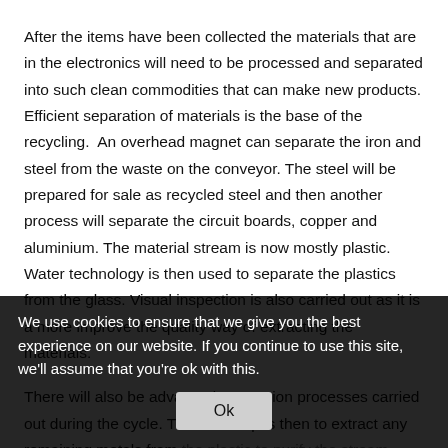After the items have been collected the materials that are in the electronics will need to be processed and separated into such clean commodities that can make new products. Efficient separation of materials is the base of the recycling.  An overhead magnet can separate the iron and steel from the waste on the conveyor. The steel will be prepared for sale as recycled steel and then another process will separate the circuit boards, copper and aluminium. The material stream is now mostly plastic. Water technology is then used to separate the plastics from the glass. Visual inspection is also carried out as it is a more improve the quality way of extracting the materials.
There will also be advanced separation processes carried out during the cycle. The final step is then to extract any remaining metals from the plastic to purify the stream more.
It makes sense to use a secure document or e-waste destruction facility where we can to avoid the pollution, blocking up our landfill for the future and why not reuse parts where we can.
We use cookies to ensure that we give you the best experience on our website. If you continue to use this site, we'll assume that you're ok with this.